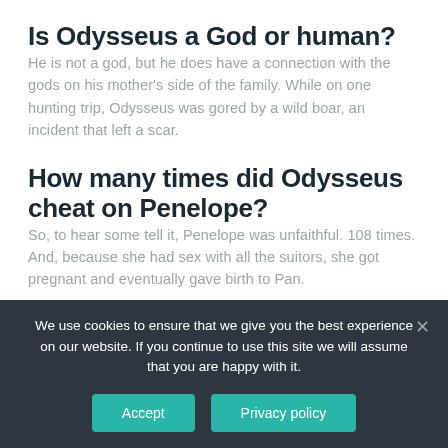Is Odysseus a God or human?
He is not a god, but he does have a connection with the gods on his mother's side of the family. While on one hunting trip, Odysseus was gored by a wild boar, an incident that left a scar.
How many times did Odysseus cheat on Penelope?
So, to hear some tell it, Penelope was unfaithful. 108 times. And, because she had sex with all the suitors, she got pregnant and eventually gave birth to Pan.
We use cookies to ensure that we give you the best experience on our website. If you continue to use this site we will assume that you are happy with it.